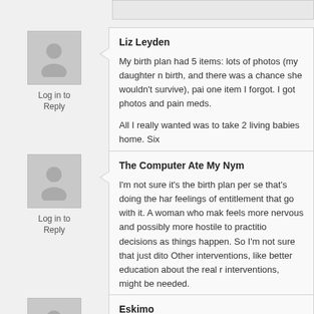Log in to Reply
Liz Leyden
My birth plan had 5 items: lots of photos (my daughter n... birth, and there was a chance she wouldn't survive), pai... one item I forgot. I got photos and pain meds.
All I really wanted was to take 2 living babies home. Six...
Log in to Reply
The Computer Ate My Nym
I'm not sure it's the birth plan per se that's doing the har... feelings of entitlement that go with it. A woman who mak... feels more nervous and possibly more hostile to practitio... decisions as things happen. So I'm not sure that just dito... Other interventions, like better education about the real r... interventions, might be needed.
Log in to
Eskimo
As a nurse at the hospital I had my son at in 2009 said: